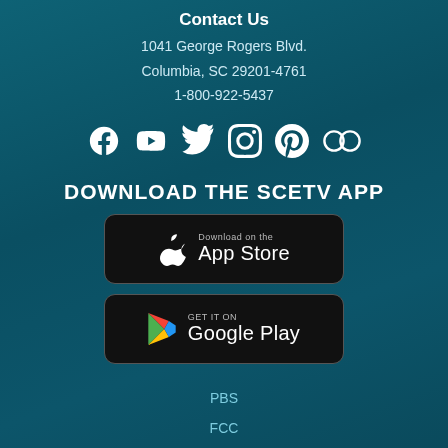Contact Us
1041 George Rogers Blvd.
Columbia, SC 29201-4761
1-800-922-5437
[Figure (infographic): Row of social media icons: Facebook, YouTube, Twitter, Instagram, Pinterest, Letterboxd]
DOWNLOAD THE SCETV APP
[Figure (infographic): Download on the App Store badge (black rounded rectangle with Apple logo)]
[Figure (infographic): Get it on Google Play badge (black rounded rectangle with Google Play logo)]
PBS
FCC
Careers
Privacy